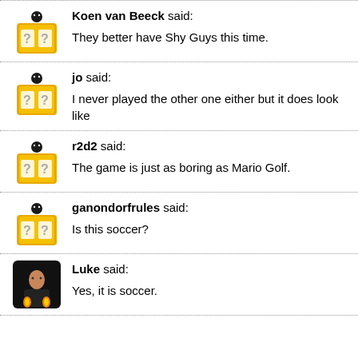Koen van Beeck said: They better have Shy Guys this time.
jo said: I never played the other one either but it does look like
r2d2 said: The game is just as boring as Mario Golf.
ganondorfrules said: Is this soccer?
Luke said: Yes, it is soccer.